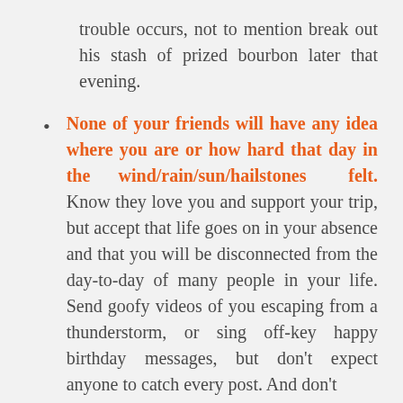trouble occurs, not to mention break out his stash of prized bourbon later that evening.
None of your friends will have any idea where you are or how hard that day in the wind/rain/sun/hailstones felt. Know they love you and support your trip, but accept that life goes on in your absence and that you will be disconnected from the day-to-day of many people in your life. Send goofy videos of you escaping from a thunderstorm, or sing off-key happy birthday messages, but don't expect anyone to catch every post. And don't